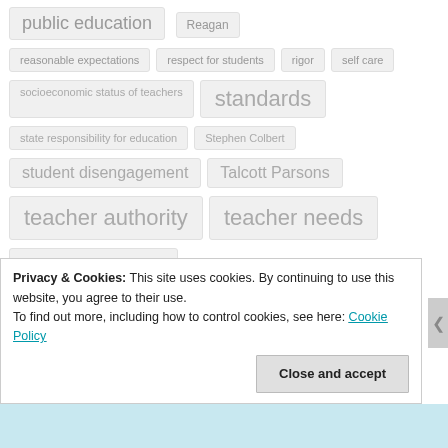public education
Reagan
reasonable expectations
respect for students
rigor
self care
socioeconomic status of teachers
standards
state responsibility for education
Stephen Colbert
student disengagement
Talcott Parsons
teacher authority
teacher needs
teacher power
teacher responsibility
Privacy & Cookies: This site uses cookies. By continuing to use this website, you agree to their use. To find out more, including how to control cookies, see here: Cookie Policy
Close and accept